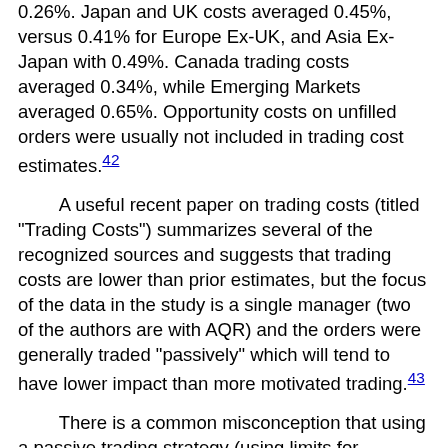0.26%. Japan and UK costs averaged 0.45%, versus 0.41% for Europe Ex-UK, and Asia Ex-Japan with 0.49%. Canada trading costs averaged 0.34%, while Emerging Markets averaged 0.65%. Opportunity costs on unfilled orders were usually not included in trading cost estimates.42
A useful recent paper on trading costs (titled "Trading Costs") summarizes several of the recognized sources and suggests that trading costs are lower than prior estimates, but the focus of the data in the study is a single manager (two of the authors are with AQR) and the orders were generally traded "passively" which will tend to have lower impact than more motivated trading.43
There is a common misconception that using a passive trading strategy (using limits for instance) to capture spread or trading gains is a simple way to always lower costs, with no repercussions. In reality, trading passively exposes the trader to adverse selection (the possibility that the trades they do complete will